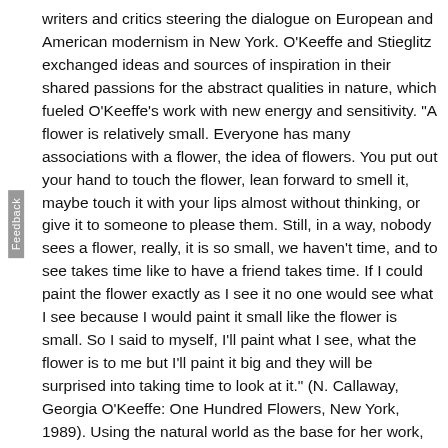writers and critics steering the dialogue on European and American modernism in New York. O'Keeffe and Stieglitz exchanged ideas and sources of inspiration in their shared passions for the abstract qualities in nature, which fueled O'Keeffe's work with new energy and sensitivity. "A flower is relatively small. Everyone has many associations with a flower, the idea of flowers. You put out your hand to touch the flower, lean forward to smell it, maybe touch it with your lips almost without thinking, or give it to someone to please them. Still, in a way, nobody sees a flower, really, it is so small, we haven't time, and to see takes time like to have a friend takes time. If I could paint the flower exactly as I see it no one would see what I see because I would paint it small like the flower is small. So I said to myself, I'll paint what I see, what the flower is to me but I'll paint it big and they will be surprised into taking time to look at it." (N. Callaway, Georgia O'Keeffe: One Hundred Flowers, New York, 1989). Using the natural world as the base for her work, then O'Keeffe's…